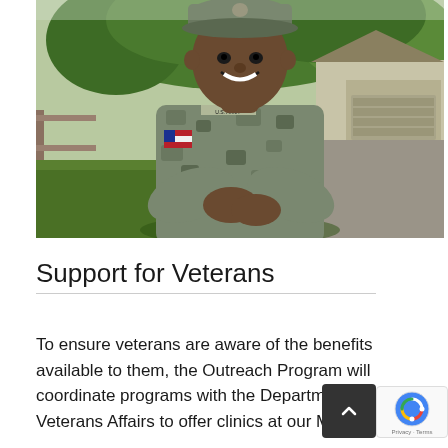[Figure (photo): A smiling African American soldier in U.S. Army camouflage uniform with arms crossed, standing outdoors in front of trees and a house/garage in the background.]
Support for Veterans
To ensure veterans are aware of the benefits available to them, the Outreach Program will coordinate programs with the Department of Veterans Affairs to offer clinics at our Masonic